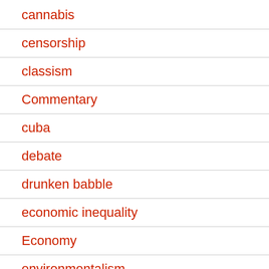cannabis
censorship
classism
Commentary
cuba
debate
drunken babble
economic inequality
Economy
environmentalism